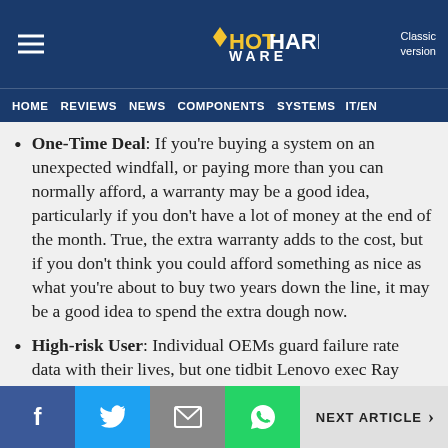HotHardware — Classic version
HOME | REVIEWS | NEWS | COMPONENTS | SYSTEMS | IT/EN
One-Time Deal: If you're buying a system on an unexpected windfall, or paying more than you can normally afford, a warranty may be a good idea, particularly if you don't have a lot of money at the end of the month. True, the extra warranty adds to the cost, but if you don't think you could afford something as nice as what you're about to buy two years down the line, it may be a good idea to spend the extra dough now.
High-risk User: Individual OEMs guard failure rate data with their lives, but one tidbit Lenovo exec Ray ...
NEXT ARTICLE >